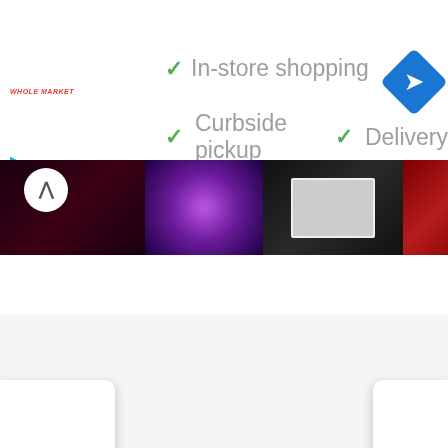[Figure (screenshot): Google Maps business listing UI screenshot showing store features: In-store shopping, Curbside pickup, Delivery with green checkmarks, a Whole Market logo, navigation icon, and a photo strip of a venue with carousel navigation arrows.]
✓ In-store shopping
✓ Curbside pickup
✓ Delivery